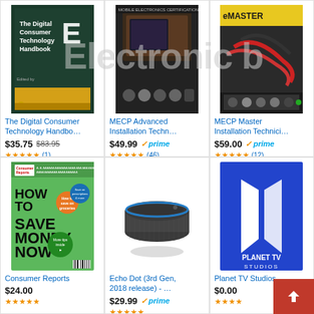[Figure (photo): Book cover: The Digital Consumer Technology Handbook]
The Digital Consumer Technology Handbo…
$35.75  $83.95  ★★★★★ (1)
[Figure (photo): Book cover: MECP Advanced Installation Technician]
MECP Advanced Installation Techn…
$49.99 ✓prime ★★★★★ (46)
[Figure (photo): Book cover: MECP Master Installation Technician]
MECP Master Installation Technici…
$59.00 ✓prime ★★★★½ (12)
[Figure (photo): Magazine: Consumer Reports HOW TO SAVE MONEY NOW]
Consumer Reports
$24.00 ★★★★★
[Figure (photo): Amazon Echo Dot 3rd Generation smart speaker]
Echo Dot (3rd Gen, 2018 release) - …
$29.99 ✓prime ★★★★★
[Figure (logo): Planet TV Studios logo on blue background]
Planet TV Studios
$0.00 ★★★★